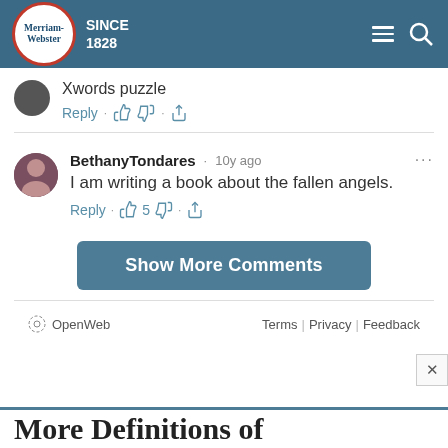Merriam-Webster SINCE 1828
Xwords puzzle
Reply · 👍 👎 · Share
BethanyTondares · 10y ago
I am writing a book about the fallen angels.
Reply · 👍 5 👎 · Share
Show More Comments
OpenWeb   Terms | Privacy | Feedback
More Definitions of